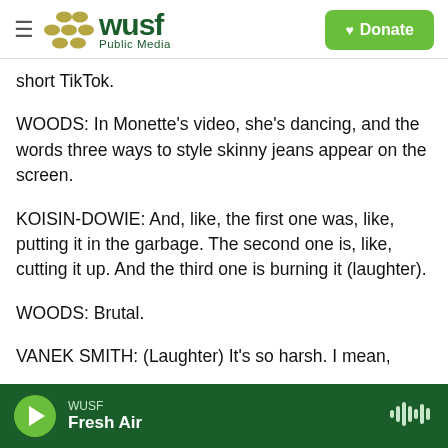[Figure (logo): WUSF Public Media logo with hamburger menu and Donate button]
short TikTok.
WOODS: In Monette's video, she's dancing, and the words three ways to style skinny jeans appear on the screen.
KOISIN-DOWIE: And, like, the first one was, like, putting it in the garbage. The second one is, like, cutting it up. And the third one is burning it (laughter).
WOODS: Brutal.
VANEK SMITH: (Laughter) It's so harsh. I mean,
WUSF  Fresh Air